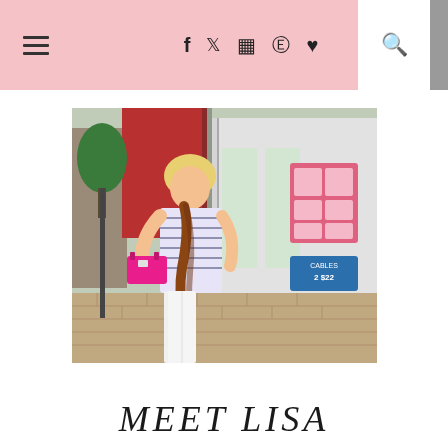Navigation bar with hamburger menu, social icons (f, Twitter, Instagram, Pinterest, heart), and search icon
[Figure (photo): Blonde woman standing on a brick sidewalk in a shopping district, wearing a striped top, leopard scarf, and holding a pink clutch bag with white pants. Store fronts visible in background.]
MEET LISA